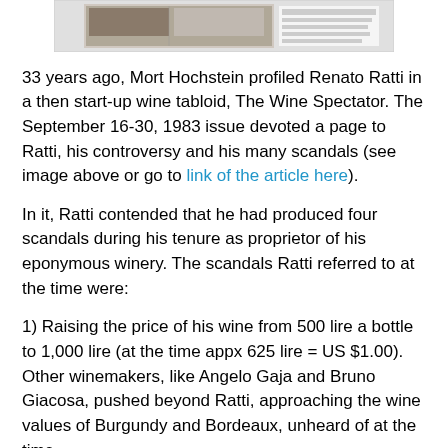[Figure (photo): Cropped image of a magazine/newspaper article, partially visible, showing text and a photo related to wine article in The Wine Spectator.]
33 years ago, Mort Hochstein profiled Renato Ratti in a then start-up wine tabloid, The Wine Spectator. The September 16-30, 1983 issue devoted a page to Ratti, his controversy and his many scandals (see image above or go to link of the article here).
In it, Ratti contended that he had produced four scandals during his tenure as proprietor of his eponymous winery. The scandals Ratti referred to at the time were:
1) Raising the price of his wine from 500 lire a bottle to 1,000 lire (at the time appx 625 lire = US $1.00). Other winemakers, like Angelo Gaja and Bruno Giacosa, pushed beyond Ratti, approaching the wine values of Burgundy and Bordeaux, unheard of at the time.
2) Adopting the cru concept, which was not part of the tradition of the Langhe. Barolo, especially, was an amalgam of different vineyards, and this was seen as an odd way of dis-unifying the vision of Barolo in general. Site specific wines at the time were not part of the tradition.